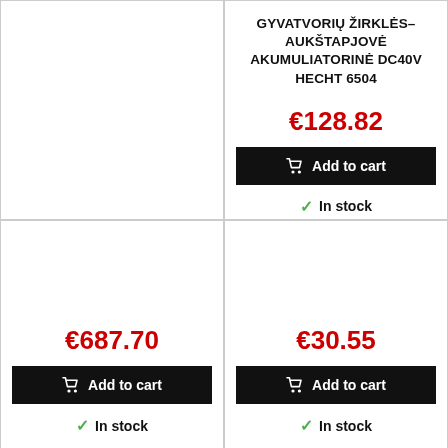[Figure (photo): Empty product image cell (top left)]
GYVATVORIŲ ŽIRKLĖS–AUKŠTAPJOVĖ AKUMULIATORINĖ DC40V HECHT 6504
€128.82
Add to cart
In stock
[Figure (photo): Empty product image cell (mid left)]
€687.70
Add to cart
In stock
[Figure (photo): Empty product image cell (mid right)]
€30.55
Add to cart
In stock
[Figure (photo): Product image cell bottom left (empty)]
[Figure (photo): Shovel product image (partial, bottom right cell), red scroll-to-top button with up arrow]